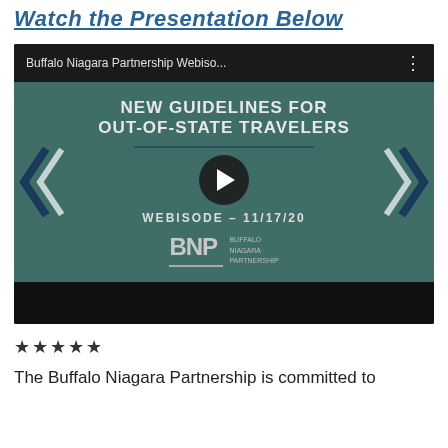Watch the Presentation Below
[Figure (screenshot): YouTube video embed showing 'Buffalo Niagara Partnership Webiso...' with video thumbnail reading 'NEW GUIDELINES FOR OUT-OF-STATE TRAVELERS WEBISODE - 11/17/20' with BNP Buffalo Niagara Partnership logo]
*****
The Buffalo Niagara Partnership is committed to